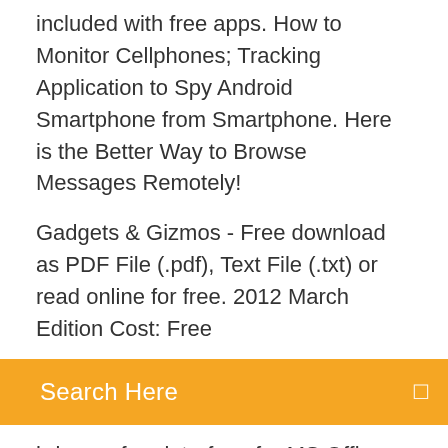included with free apps. How to Monitor Cellphones; Tracking Application to Spy Android Smartphone from Smartphone. Here is the Better Way to Browse Messages Remotely!
Gadgets & Gizmos - Free download as PDF File (.pdf), Text File (.txt) or read online for free. 2012 March Edition Cost: Free
Search Here
brings a free interface for MS Office software, which allows the user to open and edit documents. Check out the best beauty apps makup for android, the apps review, features and where to donwload them on your android device This is one particular of the most downloaded applications on Android Market. We want to inform you that this app lately got update to version 1.00. For Android Devices: Connected Card Reader for android, no need to download app,Plug and Play(Pls make sure your OTG Function was opened),if your phone can not work,You need go to Android Setting to setting OTC connection turn on